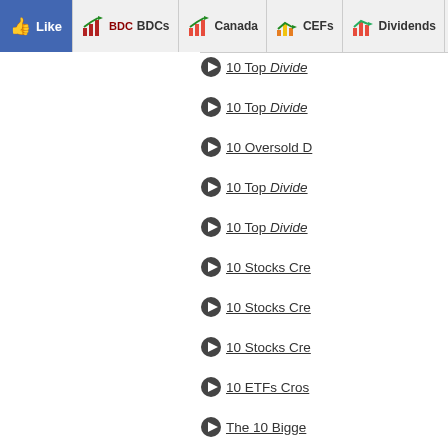Like | BDCs | Canada | CEFs | Dividends | Energy | B...
10 Top Divide...
10 Top Divide...
10 Oversold D...
10 Top Divide...
10 Top Divide...
10 Stocks Cre...
10 Stocks Cre...
10 Stocks Cre...
10 ETFs Cros...
The 10 Bigge...
The 10 Best D...
Best Vanguar...
Worst Vangua...
Best iShares ...
Worst iShares...
The 10 Worst...
10 ETFs With...
10 ETFs With...
Top 10 Analys...
Top 10 Analys...
Top 10 Analys...
Top 10 Analys...
Top 10 Analys...
Top 10 Analys...
Top 10 Analys...
Best Dividend...